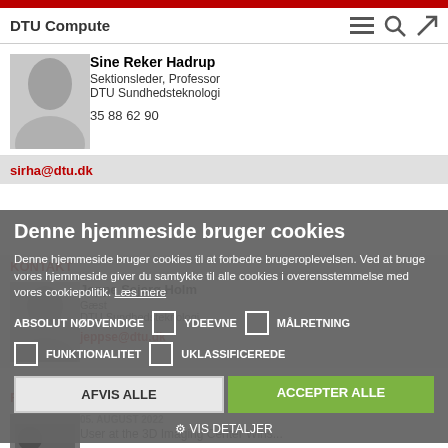DTU Compute
[Figure (photo): Grayscale headshot photo of Sine Reker Hadrup]
Sine Reker Hadrup
Sektionsleder, Professor
DTU Sundhedsteknologi
35 88 62 90
sirha@dtu.dk
KONTAKT
[Figure (photo): Grayscale headshot photo of Jeppe Sejerø Holm]
Jeppe Sejerø Holm
Gæst
DTU Sundhedsteknologi
jeppse@dtu.dk
Denne hjemmeside bruger cookies
Denne hjemmeside bruger cookies til at forbedre brugeroplevelsen. Ved at bruge vores hjemmeside giver du samtykke til alle cookies i overensstemmelse med vores cookiepolitik. Læs mere
ABSOLUT NØDVENDIGE  YDEEVNE  MÅLRETNING
FUNKTIONALITET  UKLASSIFICEREDE
AFVIS ALLE  ACCEPTER ALLE
VIS DETALJER
RELATEREDE NYHEDER
[Figure (photo): Thumbnail image for news article about 3D Imaging Center]
05. AUGUST 2022
User at the 3D Imaging Center Wins...
06. JULI 2022